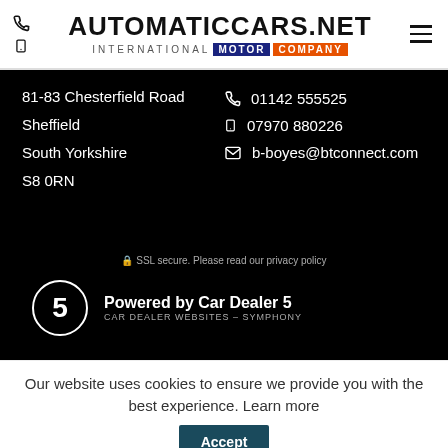AUTOMATICCARS.NET INTERNATIONAL MOTOR COMPANY
81-83 Chesterfield Road
Sheffield
South Yorkshire
S8 0RN
01142 555525
07970 880226
b-boyes@btconnect.com
🔒 SSL secure. Please read our privacy policy
Powered by Car Dealer 5
CAR DEALER WEBSITES – SYMPHONY
Our website uses cookies to ensure we provide you with the best experience. Learn more